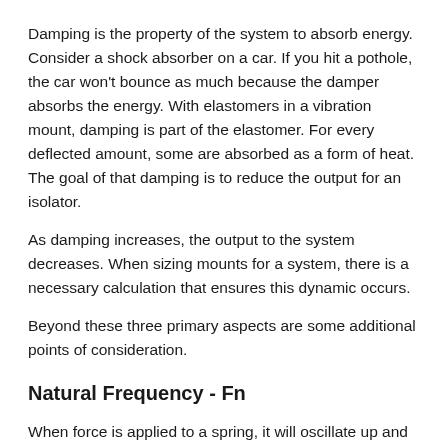Damping is the property of the system to absorb energy. Consider a shock absorber on a car. If you hit a pothole, the car won't bounce as much because the damper absorbs the energy. With elastomers in a vibration mount, damping is part of the elastomer. For every deflected amount, some are absorbed as a form of heat. The goal of that damping is to reduce the output for an isolator.
As damping increases, the output to the system decreases. When sizing mounts for a system, there is a necessary calculation that ensures this dynamic occurs.
Beyond these three primary aspects are some additional points of consideration.
Natural Frequency - Fn
When force is applied to a spring, it will oscillate up and down. This is pretty consistent. The rate at which it oscillates is the natural frequency. Natural frequency can be expressed by the following equations (metric formula and in English units). The natural frequency determines what